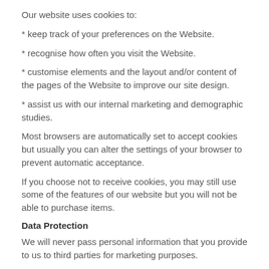Our website uses cookies to:
* keep track of your preferences on the Website.
* recognise how often you visit the Website.
* customise elements and the layout and/or content of the pages of the Website to improve our site design.
* assist us with our internal marketing and demographic studies.
Most browsers are automatically set to accept cookies but usually you can alter the settings of your browser to prevent automatic acceptance.
If you choose not to receive cookies, you may still use some of the features of our website but you will not be able to purchase items.
Data Protection
We will never pass personal information that you provide to us to third parties for marketing purposes.
Your personal information may be shared with third parties where there is a legal obligation to disclose your information to any relevant regulatory body or if we believe that such action is necessary to prevent fraud or cyber crime or to protect the Site or the rights, property or personal safety of any person.
The internet is a global network, so it is possible for your data to travel